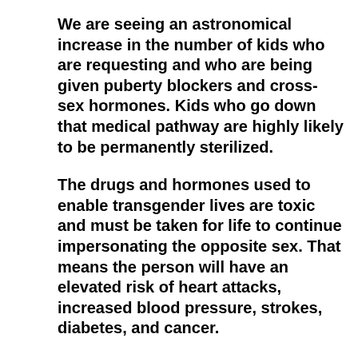We are seeing an astronomical increase in the number of kids who are requesting and who are being given puberty blockers and cross-sex hormones. Kids who go down that medical pathway are highly likely to be permanently sterilized.
The drugs and hormones used to enable transgender lives are toxic and must be taken for life to continue impersonating the opposite sex. That means the person will have an elevated risk of heart attacks, increased blood pressure, strokes, diabetes, and cancer.
From a biological standpoint, it is a complete impossibility to change from a male to a female or vice versa. Children are being given a toxic set of hormones that do not belong in their bodies at those levels. At best it is malpractice, and at the